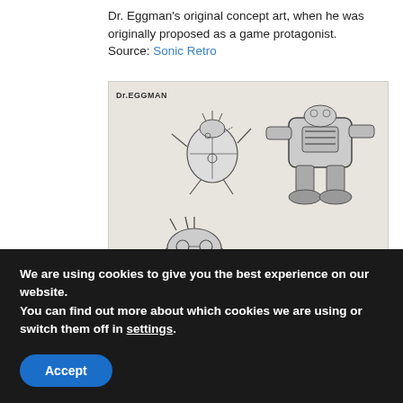Dr. Eggman's original concept art, when he was originally proposed as a game protagonist. Source: Sonic Retro
[Figure (illustration): Pencil sketch concept art labeled 'Dr.EGGMAN' showing multiple poses of a round-bodied villain character, including a small flying version, a large robot suit version, and several egg-shaped body designs with spiky hair and goggles.]
We are using cookies to give you the best experience on our website.
You can find out more about which cookies we are using or switch them off in settings.
Accept